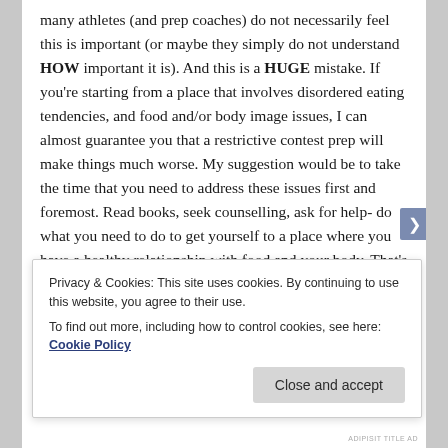many athletes (and prep coaches) do not necessarily feel this is important (or maybe they simply do not understand HOW important it is). And this is a HUGE mistake. If you're starting from a place that involves disordered eating tendencies, and food and/or body image issues, I can almost guarantee you that a restrictive contest prep will make things much worse. My suggestion would be to take the time that you need to address these issues first and foremost. Read books, seek counselling, ask for help- do what you need to do to get yourself to a place where you have a healthy relationship with food and your body. That's usually going to mean putting off competing. But it's necessary and worth it. Trust me when I say, a contest prep will not solve your eating and body image issues. It will only make things better. The
Privacy & Cookies: This site uses cookies. By continuing to use this website, you agree to their use. To find out more, including how to control cookies, see here: Cookie Policy